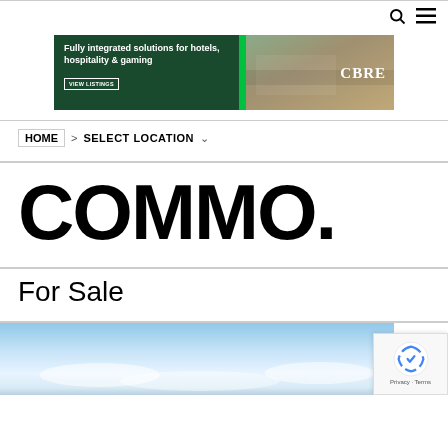🔍 ≡ (search and menu icons)
[Figure (illustration): CBRE advertisement banner: dark green background on left with text 'Fully integrated solutions for hotels, hospitality & gaming' and 'VIEW LISTINGS' button. Green bar in middle. Right side shows exterior photo of a building/hotel with 'CBRE' logo overlay.]
HOME > SELECT LOCATION ∨
COMMO.
For Sale
[Figure (photo): Aerial or sky photo showing blue sky with clouds and possibly a coastline or terrain below.]